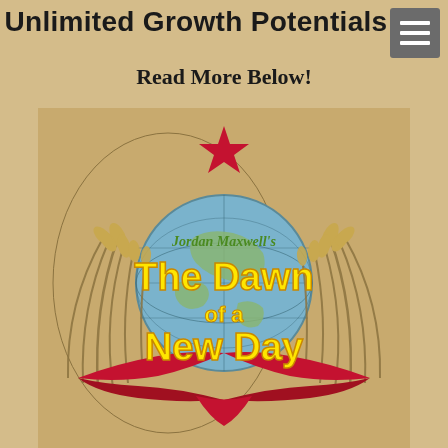Unlimited Growth Potentials
Read More Below!
[Figure (illustration): Book cover for 'Jordan Maxwell's The Dawn of a New Day' featuring a globe surrounded by wheat sheaves and red ribbons in a Soviet-style emblem design, with a red star at the top. Title text is in large yellow font. 'Jordan Maxwell's' is written in green italic script above the main title.]